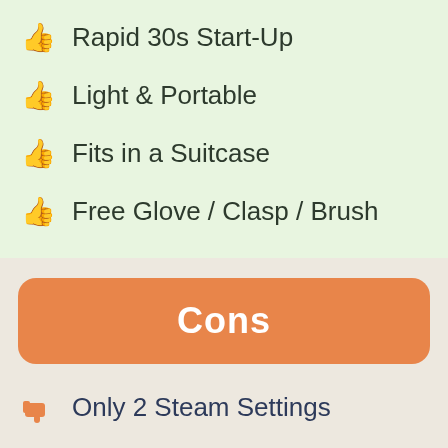Rapid 30s Start-Up
Light & Portable
Fits in a Suitcase
Free Glove / Clasp / Brush
Cons
Only 2 Steam Settings
No Hanger included